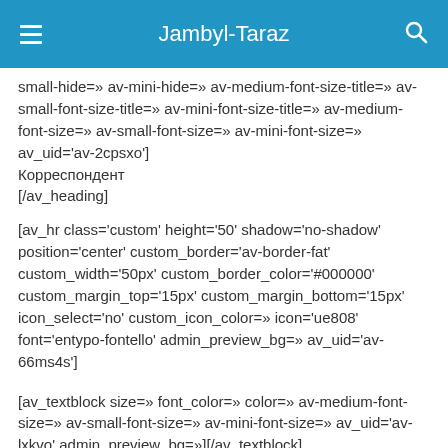Jambyl-Taraz
small-hide=» av-mini-hide=» av-medium-font-size-title=» av-small-font-size-title=» av-mini-font-size-title=» av-medium-font-size=» av-small-font-size=» av-mini-font-size=» av_uid='av-2cpsxo']
Корреспондент
[/av_heading]
[av_hr class='custom' height='50' shadow='no-shadow' position='center' custom_border='av-border-fat' custom_width='50px' custom_border_color='#000000' custom_margin_top='15px' custom_margin_bottom='15px' icon_select='no' custom_icon_color=» icon='ue808' font='entypo-fontello' admin_preview_bg=» av_uid='av-66ms4s']
[av_textblock size=» font_color=» color=» av-medium-font-size=» av-small-font-size=» av-mini-font-size=» av_uid='av-lxkvo' admin_preview_bg=»][/av_textblock]
[av_font_...